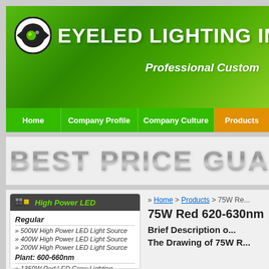[Figure (logo): EyeLED Lighting INC company logo with eye icon and green gradient banner]
EYELED LIGHTING INC
Professional Custom
Home | Company Profile | Company Culture | Products
BEST PRICE GUARANTEE
High Power LED
Regular
» 500W High Power LED Light Source
» 400W High Power LED Light Source
» 200W High Power LED Light Source
Plant: 600-660nm
» 1350W Red LED Grow Lighting
» Home > Products > 75W Re...
75W Red 620-630nm
Brief Description o...
The Drawing of 75W R...